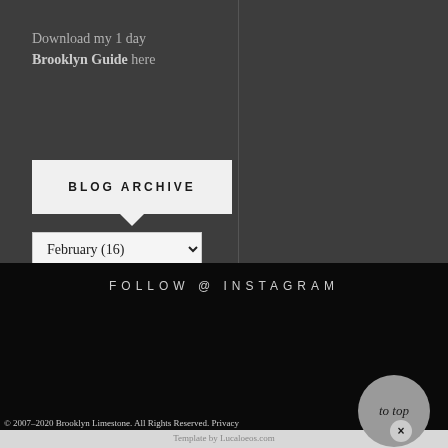Download my 1 day Brooklyn Guide here
woman's day
BLOG ARCHIVE
February (16)
FOLLOW @ INSTAGRAM
© 2007–2020 Brooklyn Limestone. All Rights Reserved. Privacy Policy
Template by Lucaloeos.com